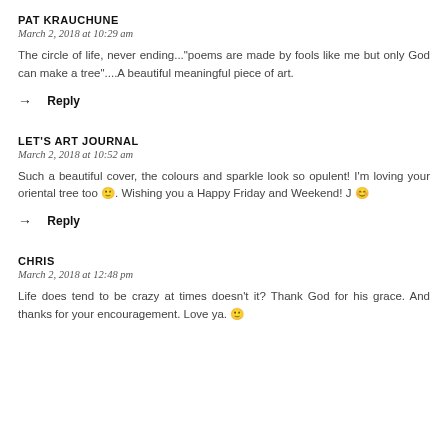PAT KRAUCHUNE
March 2, 2018 at 10:29 am
The circle of life, never ending..."poems are made by fools like me but only God can make a tree"....A beautiful meaningful piece of art.
Reply
LET'S ART JOURNAL
March 2, 2018 at 10:52 am
Such a beautiful cover, the colours and sparkle look so opulent! I'm loving your oriental tree too 🙂. Wishing you a Happy Friday and Weekend! J 😊
Reply
CHRIS
March 2, 2018 at 12:48 pm
Life does tend to be crazy at times doesn't it? Thank God for his grace. And thanks for your encouragement. Love ya. 🙂